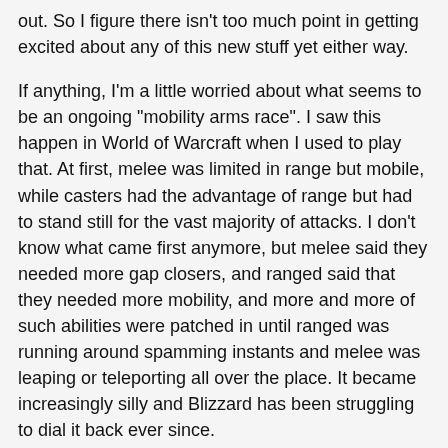out. So I figure there isn't too much point in getting excited about any of this new stuff yet either way.
If anything, I'm a little worried about what seems to be an ongoing "mobility arms race". I saw this happen in World of Warcraft when I used to play that. At first, melee was limited in range but mobile, while casters had the advantage of range but had to stand still for the vast majority of attacks. I don't know what came first anymore, but melee said they needed more gap closers, and ranged said that they needed more mobility, and more and more of such abilities were patched in until ranged was running around spamming instants and melee was leaping or teleporting all over the place. It became increasingly silly and Blizzard has been struggling to dial it back ever since.
It's not just a PvP issue either, but also leads to PvE encounters that feature a ridiculous amount of running around and twitch because there is no other way of challenging those increasingly powerful characters anymore. I fear that I'm seeing a similar thing happening in SWTOR, with ever more leaps and even more escapes, with no end in